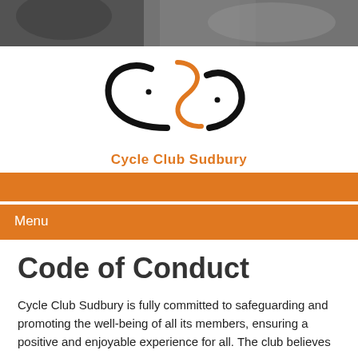[Figure (photo): Photograph banner showing cyclists or cycling equipment, darkened/muted tones]
[Figure (logo): Cycle Club Sudbury logo: stylized CSC initials in black curves with orange S-curve, with text 'Cycle Club Sudbury' in orange below]
Menu
Code of Conduct
Cycle Club Sudbury is fully committed to safeguarding and promoting the well-being of all its members, ensuring a positive and enjoyable experience for all. The club believes